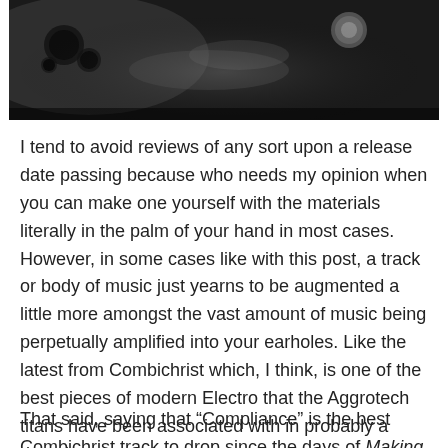[Figure (photo): A dark, moody black and white photograph showing what appears to be craters or bubbles on a surface with a misty or smoky atmospheric effect, possibly a moon or planet surface.]
I tend to avoid reviews of any sort upon a release date passing because who needs my opinion when you can make one yourself with the materials literally in the palm of your hand in most cases. However, in some cases like with this post, a track or body of music just yearns to be augmented a little more amongst the vast amount of music being perpetually amplified into your earholes. Like the latest from Combichrist which, I think, is one of the best pieces of modern Electro that the Aggrotech titans have been associated with in probably a decade or so.
That said, saying that “Compliance” is the best Combichrist track to drop since the days of Making